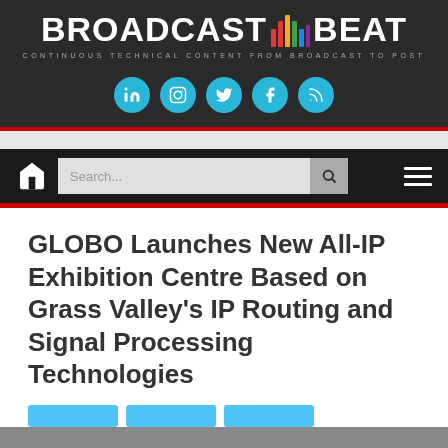BROADCAST BEAT — CONTINUOUS TECHNICAL CONTENT FROM BROADCAST TO POST
[Figure (logo): Broadcast Beat logo with colorful vertical bar chart icon between BROADCAST and BEAT text, with tagline 'CONTINUOUS TECHNICAL CONTENT FROM BROADCAST TO POST']
[Figure (infographic): Row of 5 social media icons: LinkedIn, Instagram, Twitter, Facebook, RSS feed — all in cyan/teal circles]
[Figure (screenshot): Navigation bar with home icon, search box with placeholder 'Search...', and hamburger menu icon on black background]
GLOBO Launches New All-IP Exhibition Centre Based on Grass Valley's IP Routing and Signal Processing Technologies